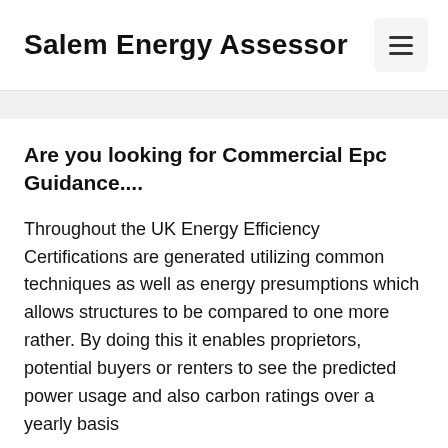Salem Energy Assessor
Are you looking for Commercial Epc Guidance....
Throughout the UK Energy Efficiency Certifications are generated utilizing common techniques as well as energy presumptions which allows structures to be compared to one more rather. By doing this it enables proprietors, potential buyers or renters to see the predicted power usage and also carbon ratings over a yearly basis